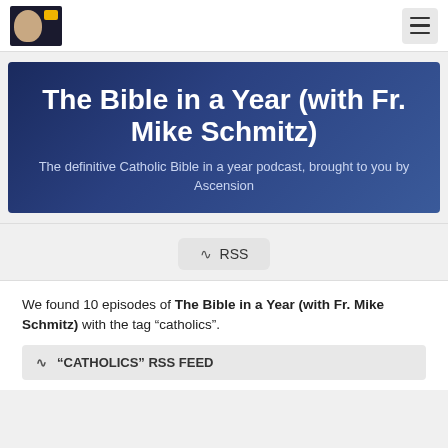The Bible in a Year (with Fr. Mike Schmitz) - site header with logo and navigation
[Figure (illustration): Podcast hero banner with dark blue gradient background showing title and subtitle text]
The Bible in a Year (with Fr. Mike Schmitz)
The definitive Catholic Bible in a year podcast, brought to you by Ascension
RSS
We found 10 episodes of The Bible in a Year (with Fr. Mike Schmitz) with the tag “catholics”.
“CATHOLICS” RSS FEED